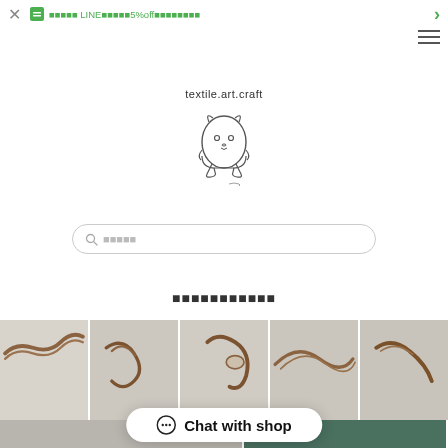✕  🎟 ■■■■■ LINE■■■■■5%off■■■■■■■■  ›
textile.art.craft
[Figure (illustration): Small cute cartoon animal character (cat/hamster) line drawing sketch with a small signature below]
■■■■■ (search placeholder)
■■■■■■■■■■■
[Figure (photo): Horizontal strip of 5 product photos showing leather cord/strap accessories on white fabric background]
[Figure (photo): Partial second row of product photos, one grey fabric item and one colorful item visible]
Chat with shop